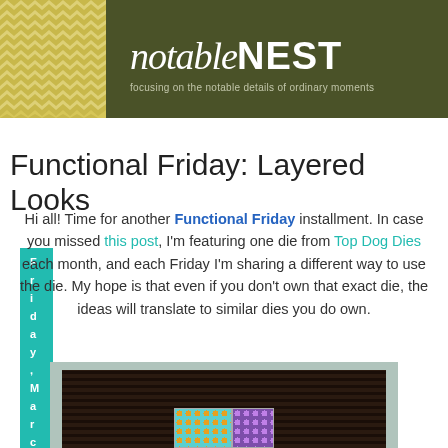[Figure (illustration): Blog header banner with chevron pattern on left in olive/gold and dark olive green right panel showing 'notableNEST' logo and tagline 'focusing on the notable details of ordinary moments']
Friday, March 6, 2015
Functional Friday: Layered Looks
Hi all! Time for another Functional Friday installment. In case you missed this post, I'm featuring one die from Top Dog Dies each month, and each Friday I'm sharing a different way to use the die. My hope is that even if you don't own that exact die, the ideas will translate to similar dies you do own.
[Figure (photo): Craft card with dark brown striped background and colorful tiled squares in teal with orange dots and purple with lilac dots]